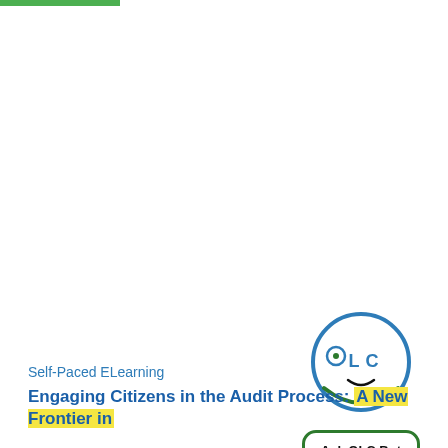[Figure (logo): OLC bot logo — a circular face with 'OLC' text as eyes/nose inside a circle with a smile, rendered in blue and green]
[Figure (other): Ask OLC Bot button — rounded rectangle with dark green border and bold text 'Ask OLC Bot']
Self-Paced ELearning
Engaging Citizens in the Audit Process: A New Frontier in